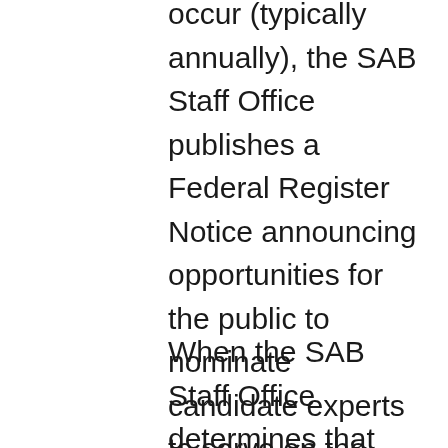occur (typically annually), the SAB Staff Office publishes a Federal Register Notice announcing opportunities for the public to nominate candidate experts to serve on the chartered CASAC and SAB.
When the SAB Staff Office determines that additional